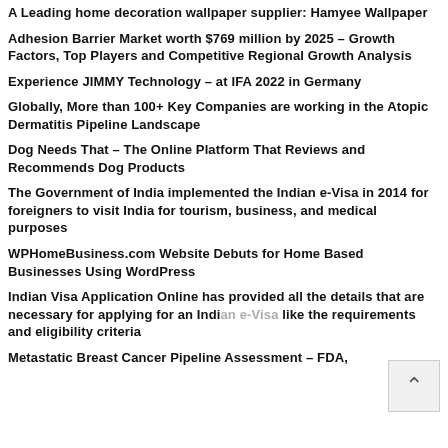A Leading home decoration wallpaper supplier: Hamyee Wallpaper
Adhesion Barrier Market worth $769 million by 2025 – Growth Factors, Top Players and Competitive Regional Growth Analysis
Experience JIMMY Technology – at IFA 2022 in Germany
Globally, More than 100+ Key Companies are working in the Atopic Dermatitis Pipeline Landscape
Dog Needs That – The Online Platform That Reviews and Recommends Dog Products
The Government of India implemented the Indian e-Visa in 2014 for foreigners to visit India for tourism, business, and medical purposes
WPHomeBusiness.com Website Debuts for Home Based Businesses Using WordPress
Indian Visa Application Online has provided all the details that are necessary for applying for an Indian Visa like the requirements and eligibility criteria
Metastatic Breast Cancer Pipeline Assessment – FDA, EMA, and PMDA Approvals, Emerging Drugs, Clinical Trials